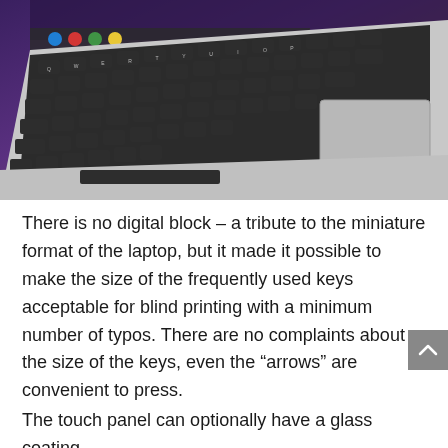[Figure (photo): Close-up photograph of a laptop keyboard with dark keys on a silver chassis, viewed from an angle. The touchpad is visible in the upper right. A screen is partially visible at the top with colorful icons.]
There is no digital block – a tribute to the miniature format of the laptop, but it made it possible to make the size of the frequently used keys acceptable for blind printing with a minimum number of typos. There are no complaints about the size of the keys, even the “arrows” are convenient to press.
The touch panel can optionally have a glass coating,